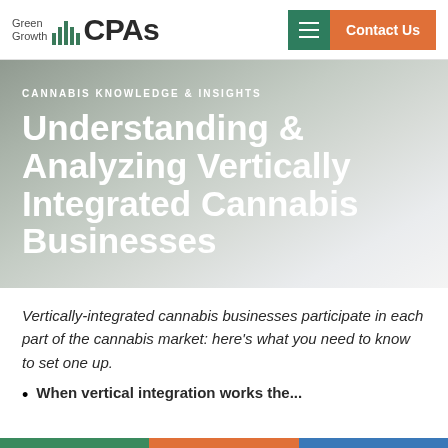Green Growth CPAs | Contact Us
CANNABIS KNOWLEDGE & INSIGHTS
Understanding & Analyzing Vertically Integrated Cannabis Businesses
Vertically-integrated cannabis businesses participate in each part of the cannabis market: here’s what you need to know to set one up.
When vertical integration works the...